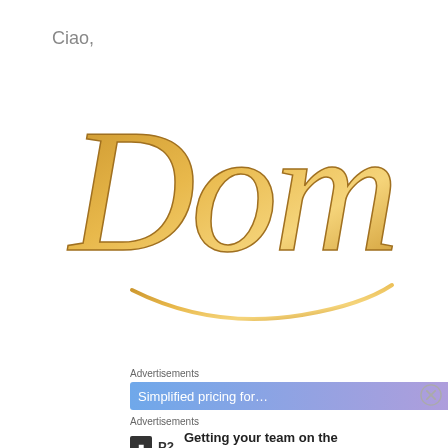Ciao,
[Figure (logo): Gold calligraphic script logo reading 'Dom' in ornate golden lettering on white background]
Advertisements
Simplified pricing for…
Advertisements
P2 Getting your team on the same page is easy. And free.